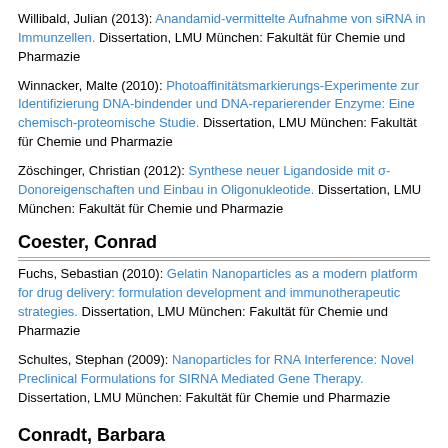Willibald, Julian (2013): Anandamid-vermittelte Aufnahme von siRNA in Immunzellen. Dissertation, LMU München: Fakultät für Chemie und Pharmazie
Winnacker, Malte (2010): Photoaffinitätsmarkierungs-Experimente zur Identifizierung DNA-bindender und DNA-reparierender Enzyme: Eine chemisch-proteomische Studie. Dissertation, LMU München: Fakultät für Chemie und Pharmazie
Zöschinger, Christian (2012): Synthese neuer Ligandoside mit σ-Donoreigenschaften und Einbau in Oligonukleotide. Dissertation, LMU München: Fakultät für Chemie und Pharmazie
Coester, Conrad
Fuchs, Sebastian (2010): Gelatin Nanoparticles as a modern platform for drug delivery: formulation development and immunotherapeutic strategies. Dissertation, LMU München: Fakultät für Chemie und Pharmazie
Schultes, Stephan (2009): Nanoparticles for RNA Interference: Novel Preclinical Formulations for SIRNA Mediated Gene Therapy. Dissertation, LMU München: Fakultät für Chemie und Pharmazie
Conradt, Barbara